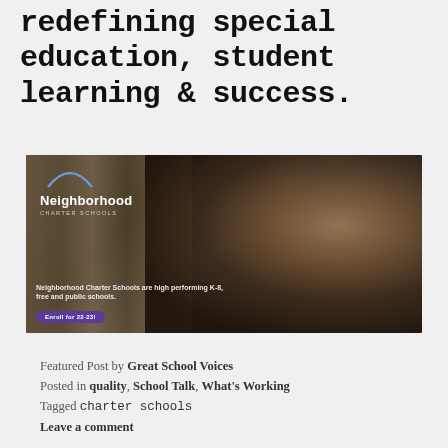redefining special education, student learning & success.
[Figure (photo): Neighborhood Charter Schools advertisement image showing a young Black student in a classroom with bookshelves in background. Logo with arc graphic reads 'Neighborhood CHARTER SCHOOLS'. Caption text: 'Neighborhood Charter Schools are high performing K-8, free and public schools.' Button: 'Enroll for 22-23!']
Featured Post by Great School Voices
Posted in quality, School Talk, What's Working
Tagged charter schools
Leave a comment